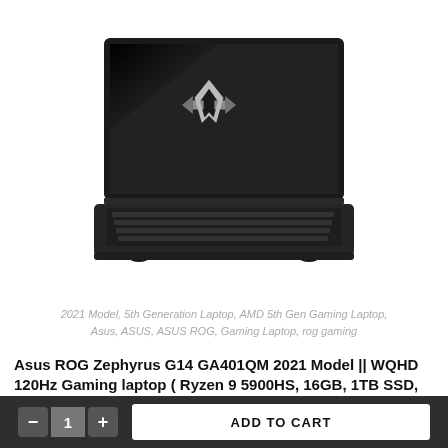[Figure (photo): ASUS ROG Zephyrus G14 laptop shown open with ROG logo on screen, black and white/grayscale photo, viewed from slightly above front angle, keyboard visible]
2021 Model, 5th Generation Laptop, AMD 5th Gen Gaming Laptop, Asus, ASUS, ASUS ROG, Gaming Laptop, rog gaming
Asus ROG Zephyrus G14 GA401QM 2021 Model || WQHD 120Hz Gaming laptop ( Ryzen 9 5900HS, 16GB, 1TB SSD,